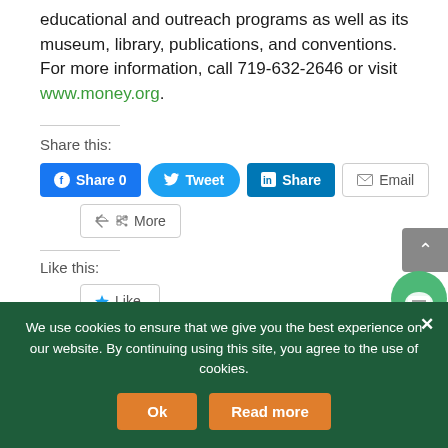educational and outreach programs as well as its museum, library, publications, and conventions. For more information, call 719-632-2646 or visit www.money.org.
Share this:
[Figure (screenshot): Social sharing buttons: Facebook Share 0, Tweet, LinkedIn Share, Email, More]
Like this:
[Figure (screenshot): Like button]
We use cookies to ensure that we give you the best experience on our website. By continuing using this site, you agree to the use of cookies.
[Figure (screenshot): Cookie banner with Ok and Read more buttons]